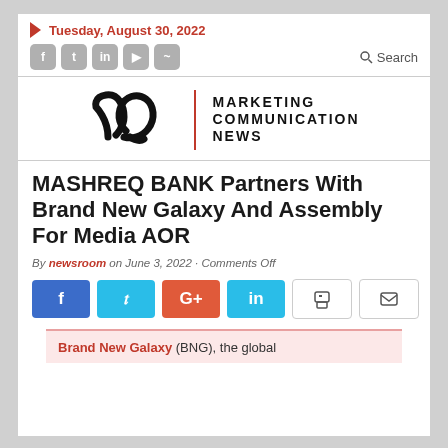Tuesday, August 30, 2022
[Figure (logo): Marketing Communication News logo with stylized double-loop icon and red vertical bar]
MASHREQ BANK Partners With Brand New Galaxy And Assembly For Media AOR
By newsroom on June 3, 2022 · Comments Off
[Figure (infographic): Social share buttons: Facebook (blue), Twitter (cyan), Google+ (red-orange), LinkedIn (cyan), plus print and email utility buttons]
Brand New Galaxy (BNG), the global